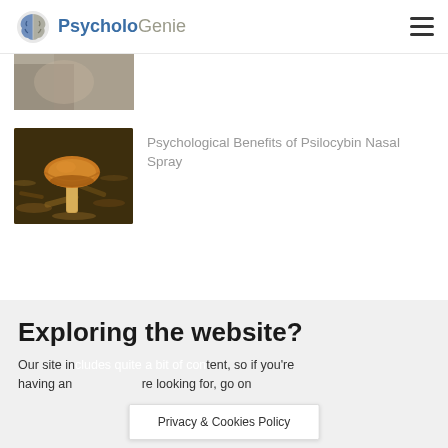PsycholoGenie
[Figure (photo): Partially visible image at top of article list, appears to be cropped]
[Figure (photo): Close-up photo of a small mushroom among wood chips/mulch on the ground]
Psychological Benefits of Psilocybin Nasal Spray
Exploring the website?
Our site includes quite a bit of content, so if you're having an issue finding what you're looking for, go on
Privacy & Cookies Policy